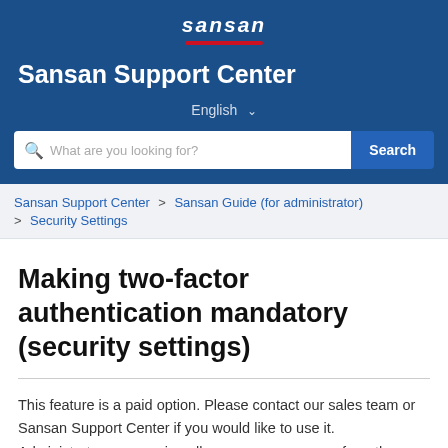[Figure (logo): Sansan logo in white italic text with red underline on dark blue background]
Sansan Support Center
English ˅
What are you looking for?  Search
Sansan Support Center > Sansan Guide (for administrator) > Security Settings
Making two-factor authentication mandatory (security settings)
This feature is a paid option. Please contact our sales team or Sansan Support Center if you would like to use it.
Administrators can assign all users or some users from the...